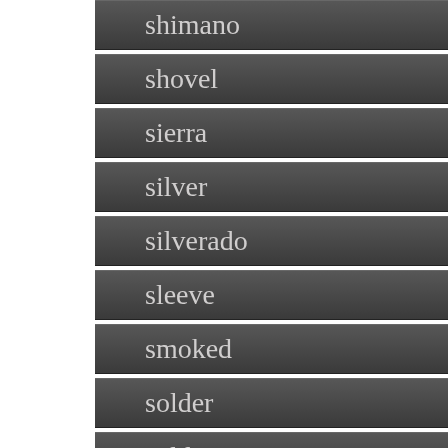shimano
shovel
sierra
silver
silverado
sleeve
smoked
solder
soldering
sorento
sound
soundstream